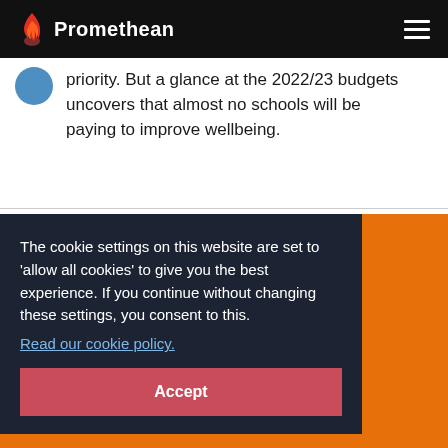Promethean
priority. But a glance at the 2022/23 budgets uncovers that almost no schools will be paying to improve wellbeing.
The cookie settings on this website are set to 'allow all cookies' to give you the best experience. If you continue without changing these settings, you consent to this.
Read our cookie policy.
Accept